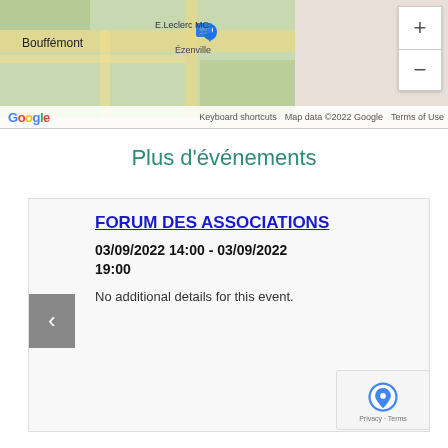[Figure (map): Google Maps screenshot showing Bouffémont area with E.Leclerc MC and Ézenville labels, map controls with + and - buttons]
Plus d'événements
FORUM DES ASSOCIATIONS
03/09/2022 14:00 - 03/09/2022 19:00
No additional details for this event.